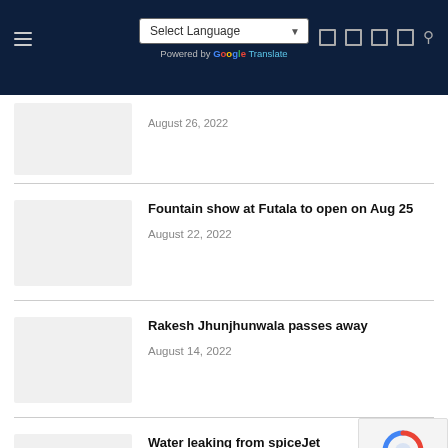Select Language | Powered by Google Translate
August 26, 2022
Fountain show at Futala to open on Aug 25 — August 22, 2022
Rakesh Jhunjhunwala passes away — August 14, 2022
Water leaking from spiceJet plane, vid… viral — August 12, 2022